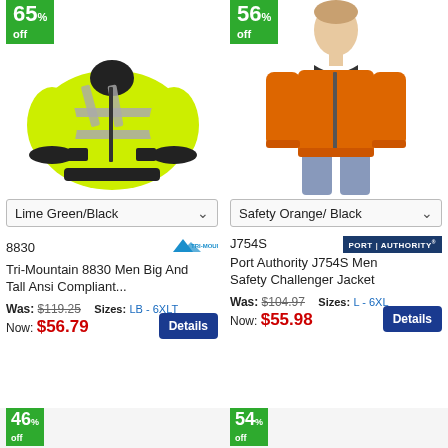[Figure (photo): Yellow-green hi-vis safety jacket with reflective stripes, 65% off badge]
[Figure (photo): Man wearing orange safety bomber jacket, 56% off badge]
Lime Green/Black
Safety Orange/ Black
8830
[Figure (logo): Tri-Mountain brand logo]
J754S
[Figure (logo): Port Authority brand logo]
Tri-Mountain 8830 Men Big And Tall Ansi Compliant...
Port Authority J754S Men Safety Challenger Jacket
Was: $119.25  Sizes: LB - 6XLT
Was: $104.97  Sizes: L - 6XL
Now: $56.79
Now: $55.98
[Figure (photo): Partial product image bottom left with 46% off badge]
[Figure (photo): Partial product image bottom right with 54% off badge]